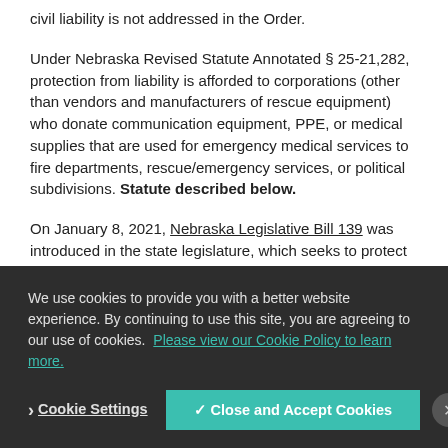civil liability is not addressed in the Order.
Under Nebraska Revised Statute Annotated § 25-21,282, protection from liability is afforded to corporations (other than vendors and manufacturers of rescue equipment) who donate communication equipment, PPE, or medical supplies that are used for emergency medical services to fire departments, rescue/emergency services, or political subdivisions. Statute described below.
On January 8, 2021, Nebraska Legislative Bill 139 was introduced in the state legislature, which seeks to protect hospitals, businesses, and schools—among other entities—from most coronavirus-related lawsuits.
We use cookies to provide you with a better website experience. By continuing to use this site, you are agreeing to our use of cookies. Please view our Cookie Policy to learn more.